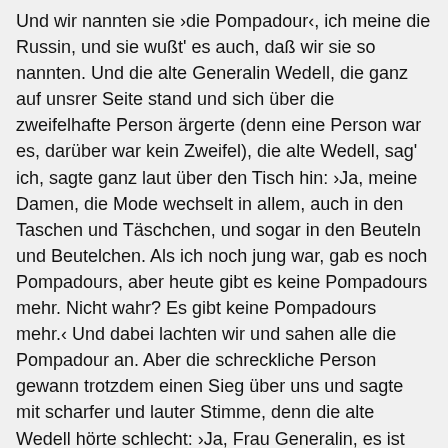Und wir nannten sie ›die Pompadour‹, ich meine die Russin, und sie wußt' es auch, daß wir sie so nannten. Und die alte Generalin Wedell, die ganz auf unsrer Seite stand und sich über die zweifelhafte Person ärgerte (denn eine Person war es, darüber war kein Zweifel), die alte Wedell, sag' ich, sagte ganz laut über den Tisch hin: ›Ja, meine Damen, die Mode wechselt in allem, auch in den Taschen und Täschchen, und sogar in den Beuteln und Beutelchen. Als ich noch jung war, gab es noch Pompadours, aber heute gibt es keine Pompadours mehr. Nicht wahr? Es gibt keine Pompadours mehr.‹ Und dabei lachten wir und sahen alle die Pompadour an. Aber die schreckliche Person gewann trotzdem einen Sieg über uns und sagte mit scharfer und lauter Stimme, denn die alte Wedell hörte schlecht: ›Ja, Frau Generalin, es ist so, wie Sie sagen. Nur sonderbar, als die Pompadours abgelöst wurden, kamen die Réticules an die Reihe, die man dann später Ridicules nannte. Und solche Ridicules gibt es noch.‹ Und dabei sah sie die gute alte Wedell an, die, weil sie nicht antworten konnte, vom Tische aufstand und den Saal verließ.